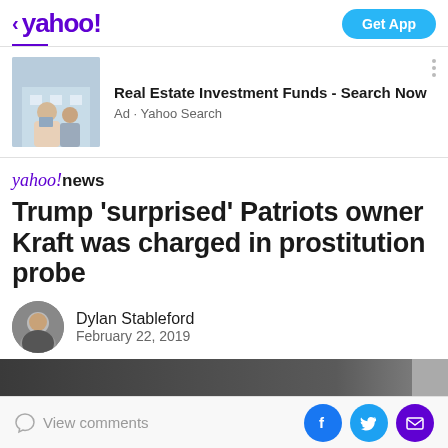< yahoo! | Get App
[Figure (screenshot): Yahoo app header with purple Yahoo logo and Get App button]
Real Estate Investment Funds - Search Now
Ad • Yahoo Search
yahoo!news
Trump 'surprised' Patriots owner Kraft was charged in prostitution probe
Dylan Stableford
February 22, 2019
View comments